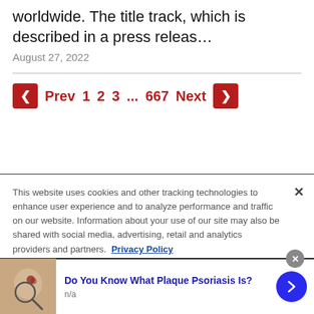worldwide. The title track, which is described in a press releas…
August 27, 2022
Prev  1  2  3  ...  667  Next
This website uses cookies and other tracking technologies to enhance user experience and to analyze performance and traffic on our website. Information about your use of our site may also be shared with social media, advertising, retail and analytics providers and partners.  Privacy Policy
Do You Know What Plaque Psoriasis Is?
n/a